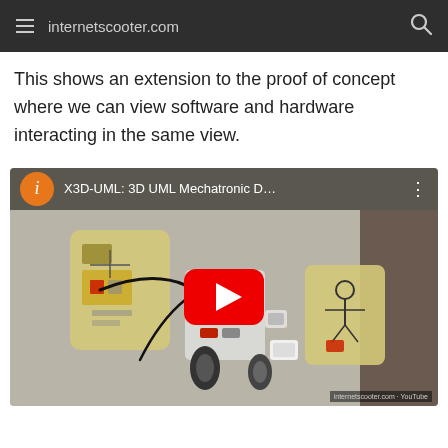internetscooter.com
This shows an extension to the proof of concept where we can view software and hardware interacting in the same view.
[Figure (screenshot): YouTube video thumbnail showing a LEGO Mindstorms robot on a table with UML diagram cards. Video title: X3D-UML: 3D UML Mechatronic D... with a YouTube play button overlay.]